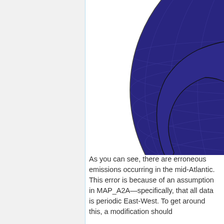[Figure (map): A globe showing the Western Hemisphere and Atlantic Ocean. The oceans and globe surface are dark blue/indigo, with black outlines showing continental coastlines of North America, South America, and parts of other landmasses. Latitude and longitude grid lines are visible. The globe is cropped, showing only the upper portion and right side.]
As you can see, there are erroneous emissions occurring in the mid-Atlantic. This error is because of an assumption in MAP_A2A—specifically, that all data is periodic East-West. To get around this, a modification should